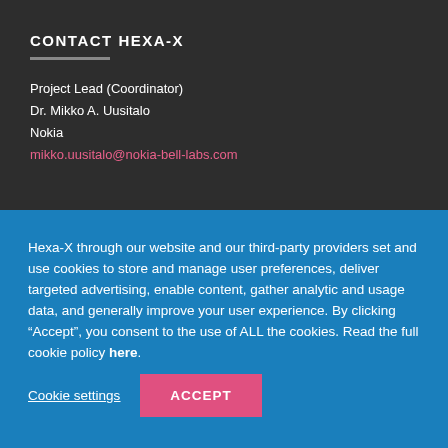CONTACT HEXA-X
Project Lead (Coordinator)
Dr. Mikko A. Uusitalo
Nokia
mikko.uusitalo@nokia-bell-labs.com
Hexa-X through our website and our third-party providers set and use cookies to store and manage user preferences, deliver targeted advertising, enable content, gather analytic and usage data, and generally improve your user experience. By clicking “Accept”, you consent to the use of ALL the cookies. Read the full cookie policy here.
Cookie settings
ACCEPT